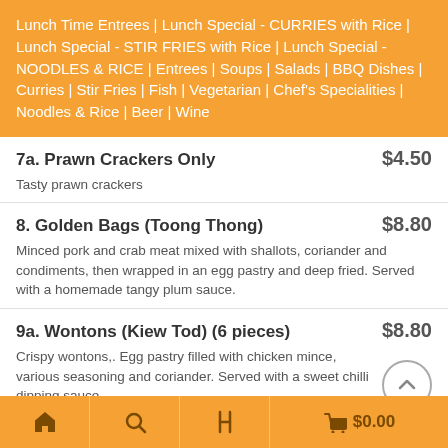Lunch Time Entrees | Lunch Special - CURRIES with Rice | Lunch Special - STIR FRIES with Rice | Lunch Special - NOODLES & RICE | Entrees | Soups | Salads | BBQ Dishes | Curries | Stir Fries | Fish | Vegetarian | Chef's Specialities | Noodles & Rice | Beer | Wine
7a. Prawn Crackers Only $4.50
Tasty prawn crackers
8. Golden Bags (Toong Thong) $8.80
Minced pork and crab meat mixed with shallots, coriander and condiments, then wrapped in an egg pastry and deep fried. Served with a homemade tangy plum sauce.
9a. Wontons (Kiew Tod) (6 pieces) $8.80
Crispy wontons,. Egg pastry filled with chicken mince, various seasoning and coriander. Served with a sweet chilli dipping sauce.
🏠  🔍  🍴  🛒 $0.00